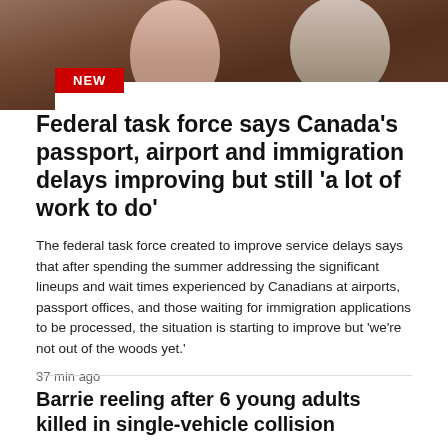[Figure (photo): Two people in professional attire, close-up portrait photo used as news article header image]
Federal task force says Canada's passport, airport and immigration delays improving but still 'a lot of work to do'
The federal task force created to improve service delays says that after spending the summer addressing the significant lineups and wait times experienced by Canadians at airports, passport offices, and those waiting for immigration applications to be processed, the situation is starting to improve but 'we're not out of the woods yet.'
37 min ago
Barrie reeling after 6 young adults killed in single-vehicle collision